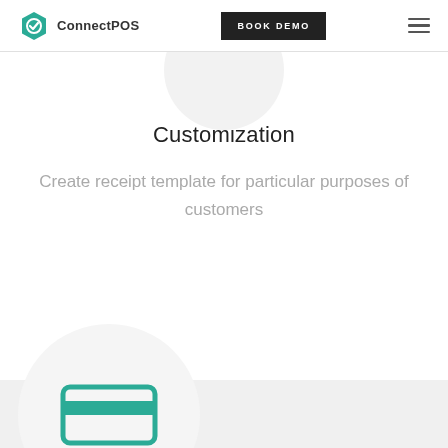ConnectPOS | BOOK DEMO
Customization
Create receipt template for particular purposes of customers
[Figure (illustration): Circular white icon with a teal credit card / payment card illustration inside, on a light gray circle background]